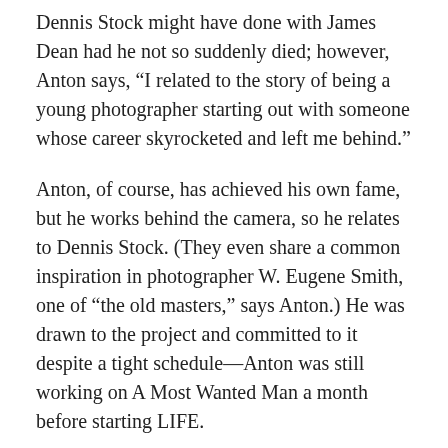Dennis Stock might have done with James Dean had he not so suddenly died; however, Anton says, “I related to the story of being a young photographer starting out with someone whose career skyrocketed and left me behind.”
Anton, of course, has achieved his own fame, but he works behind the camera, so he relates to Dennis Stock. (They even share a common inspiration in photographer W. Eugene Smith, one of “the old masters,” says Anton.) He was drawn to the project and committed to it despite a tight schedule—Anton was still working on A Most Wanted Man a month before starting LIFE.
“It’s new for me to have films that close to each other, but I think we did very well…it feels like we have something special.” From Anton’s perspective, the strength of the film isn’t merely the James Dean material: “It is really the story of Dennis Stock. We see it